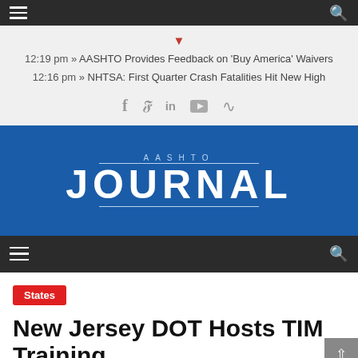AASHTO Journal - navigation bar top
12:19 pm » AASHTO Provides Feedback on 'Buy America' Waivers
12:16 pm » NHTSA: First Quarter Crash Fatalities Hit New High
[Figure (logo): AASHTO Journal logo — white text on blue background with decorative lines]
AASHTO Journal - navigation bar bottom
States
New Jersey DOT Hosts TIM Training